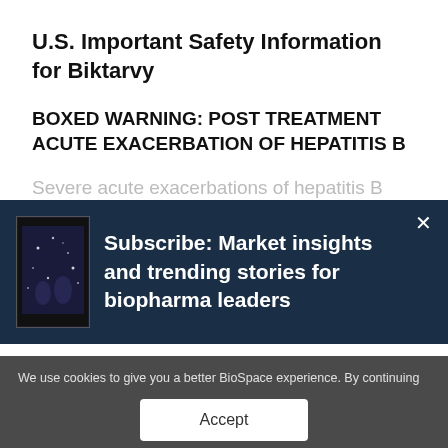U.S. Important Safety Information for Biktarvy
BOXED WARNING: POST TREATMENT ACUTE EXACERBATION OF HEPATITIS B
Severe acute exacerbations of hepatitis B
[Figure (screenshot): Subscribe popup with phone image and text: Subscribe: Market insights and trending stories for biopharma leaders]
We use cookies to give you a better BioSpace experience. By continuing to use our site, you are agreeing to the use of cookies as set in our Privacy Policy.
Accept